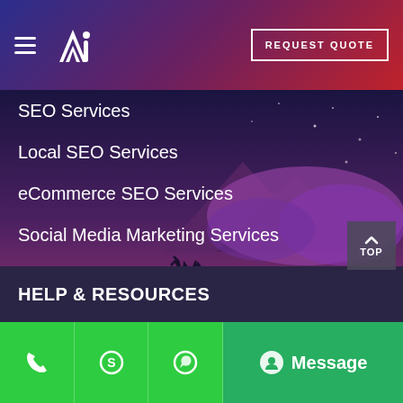[Figure (logo): Ai logo with stylized A and i letters in white on gradient header]
SEO Services
Local SEO Services
eCommerce SEO Services
Social Media Marketing Services
Web Design Services
Website Maintenance Services
PPC Services India
Google Workspace Partner India
HELP & RESOURCES
[Figure (illustration): Purple twilight nature scene with deer silhouette, mountains, trees, and starry sky]
[Figure (screenshot): Green bottom navigation bar with phone, Skype, WhatsApp icons and Message button]